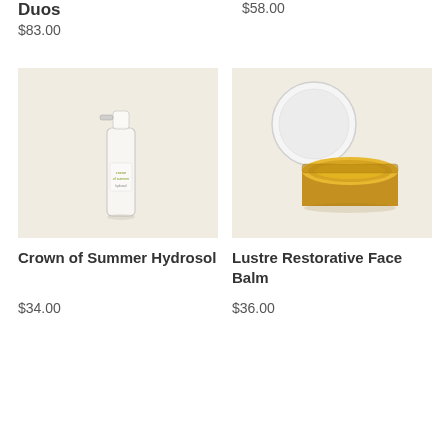Duos
$83.00
$58.00
[Figure (photo): A clear glass spray bottle with green label text, photographed on a warm beige background. Crown of Summer Hydrosol product.]
[Figure (photo): An open glass jar of golden/amber balm with its white lid placed beside it, photographed on a warm beige background. Lustre Restorative Face Balm product.]
Crown of Summer Hydrosol
$34.00
Lustre Restorative Face Balm
$36.00